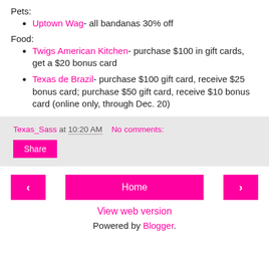Pets:
Uptown Wag- all bandanas 30% off
Food:
Twigs American Kitchen- purchase $100 in gift cards, get a $20 bonus card
Texas de Brazil- purchase $100 gift card, receive $25 bonus card; purchase $50 gift card, receive $10 bonus card (online only, through Dec. 20)
Texas_Sass at 10:20 AM   No comments:
Share
Home | View web version | Powered by Blogger.